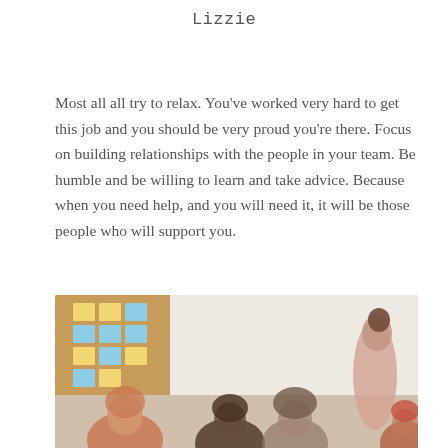Lizzie
Most all all try to relax. You've worked very hard to get this job and you should be very proud you're there. Focus on building relationships with the people in your team. Be humble and be willing to learn and take advice. Because when you need help, and you will need it, it will be those people who will support you.
[Figure (photo): Group of diverse colleagues in a team meeting or collaborative workspace, with a corkboard with sticky notes visible in the background on the left, and a smiling woman standing behind others who are seated.]